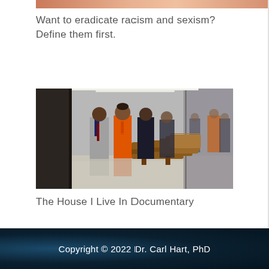[Figure (photo): Partial top image cropped at top of page, showing a person with orange/gold tones]
Want to eradicate racism and sexism? Define them first.
[Figure (photo): Courthouse hallway scene showing a person in an orange prison jumpsuit flanked by individuals in suits, with wooden benches visible and a glass reflection on the right side]
The House I Live In Documentary
Copyright © 2022 Dr. Carl Hart, PhD